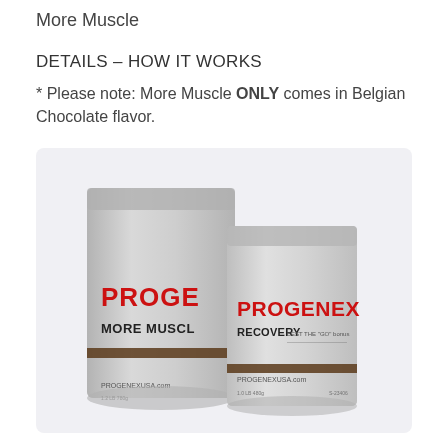More Muscle
DETAILS – HOW IT WORKS
* Please note: More Muscle ONLY comes in Belgian Chocolate flavor.
[Figure (photo): Two Progenex product bags side by side on a light background. The larger bag on the left is labeled PROGENEX MORE MUSCLE and the smaller bag on the right is labeled PROGENEX RECOVERY. Both bags are silver/metallic and have PROGENEXUSA.com printed at the bottom.]